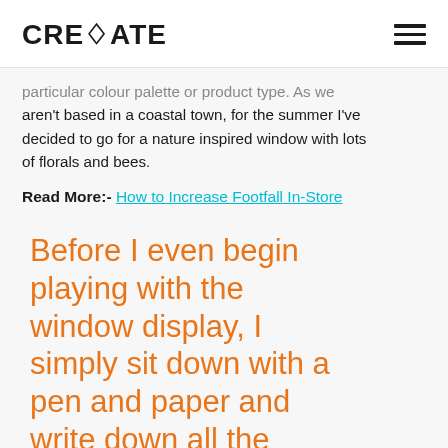CREOATE
particular colour palette or product type. As we aren't based in a coastal town, for the summer I've decided to go for a nature inspired window with lots of florals and bees.
Read More:- How to Increase Footfall In-Store
Before I even begin playing with the window display, I simply sit down with a pen and paper and write down all the